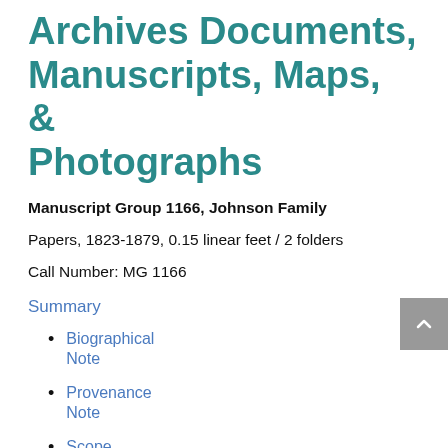Archives Documents, Manuscripts, Maps, & Photographs
Manuscript Group 1166, Johnson Family
Papers, 1823-1879, 0.15 linear feet / 2 folders
Call Number: MG 1166
Summary
Biographical Note
Provenance Note
Scope and Content Note
Related Collections